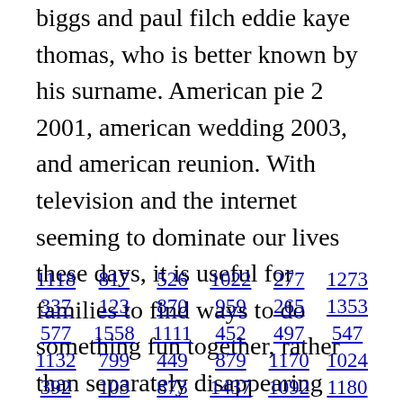biggs and paul filch eddie kaye thomas, who is better known by his surname. American pie 2 2001, american wedding 2003, and american reunion. With television and the internet seeming to dominate our lives these days, it is useful for families to find ways to do something fun together, rather than separately disappearing into the digital world.
1118  817  526  1022  277  1273
337  123  870  959  265  1353
577  1558  1111  452  497  547
1132  799  449  879  1170  1024
392  103  873  1437  1092  1180
1216  1235  1499  99  1313  633